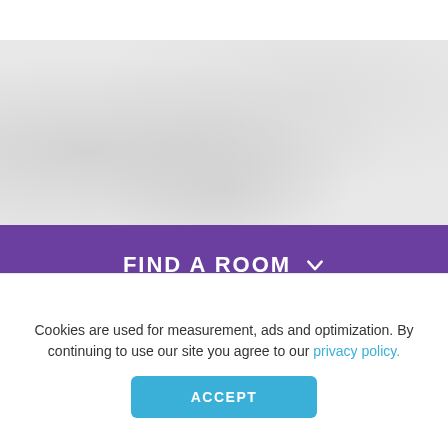[Figure (screenshot): Top white bar area of a hotel booking website]
[Figure (photo): Gray textured background area, likely a hotel exterior photograph]
FIND A ROOM
Check-In
Cookies are used for measurement, ads and optimization. By continuing to use our site you agree to our privacy policy.
ACCEPT